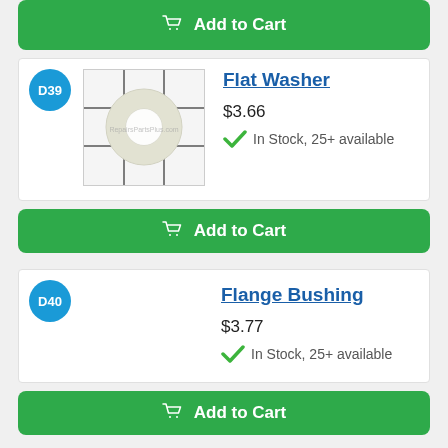Add to Cart
D39
[Figure (photo): Flat washer product photo showing a white/translucent nylon ring washer on a gridded background]
Flat Washer
$3.66
In Stock, 25+ available
Add to Cart
D40
Flange Bushing
$3.77
In Stock, 25+ available
Add to Cart